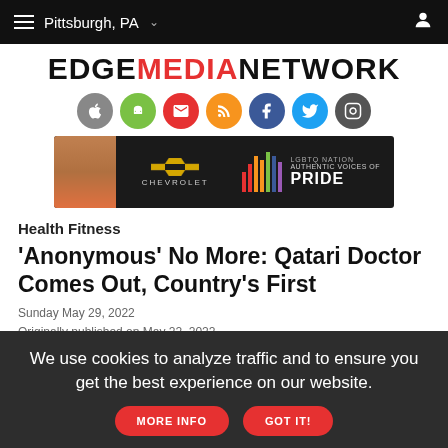Pittsburgh, PA
[Figure (logo): EDGE MEDIA NETWORK logo in black and red text]
[Figure (infographic): Row of social media icon circles: Apple, Android, Email, RSS, Facebook, Twitter, Instagram]
[Figure (photo): Chevrolet LGBTQ Nation Authentic Voices of Pride advertisement banner]
Health Fitness
'Anonymous' No More: Qatari Doctor Comes Out, Country's First
Sunday May 29, 2022
Originally published on May 22, 2022
We use cookies to analyze traffic and to ensure you get the best experience on our website.